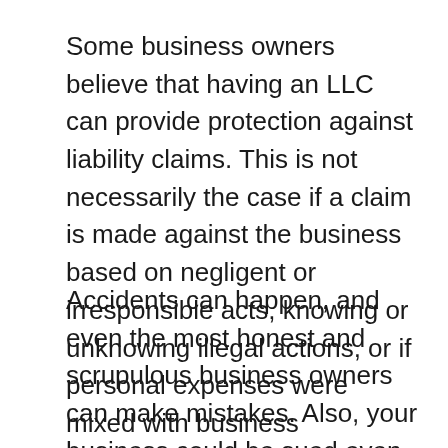Some business owners believe that having an LLC can provide protection against liability claims. This is not necessarily the case if a claim is made against the business based on negligent or irresponsible acts, knowing or unknowing illegal actions, or if personal expenses were mixed with business expenses. When a complaint is filed against an LLC, owners have to respond and hire attorneys to represent them.
Accidents can happen, and even the most honest and scrupulous business owners can make mistakes. Also, your business could be sued even if it has done nothing wrong. For these reasons, it is important to carry general liability insurance to handle potential claims against your company. Our